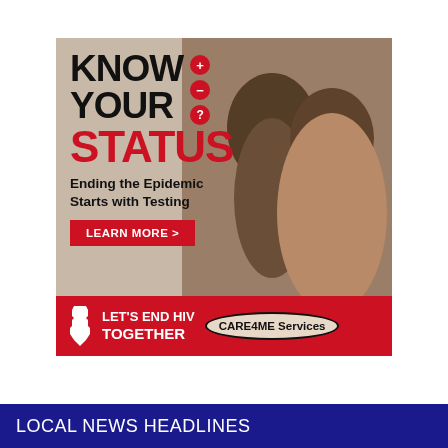[Figure (infographic): HIV awareness advertisement with two Black men in background photo. Text overlay reads 'KNOW YOUR STATUS' with red plus, minus, question mark symbols. Subtitle: 'Ending the Epidemic Starts with Testing'. Red 'LEARN MORE >' button. Red footer bar with Mississippi state shape, 'LET'S END HIV TOGETHER', and 'CARE4ME Services' oval logo.]
LOCAL NEWS HEADLINES